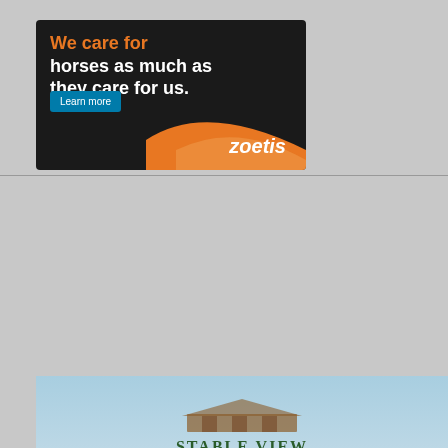[Figure (illustration): Zoetis advertisement banner: dark background with white bold text 'We care for horses as much as they care for us.' with orange highlight on 'for', a teal 'Learn more' button, orange wave design on lower right, and Zoetis brand name in white italic on lower right.]
[Figure (photo): Stable View equestrian venue advertisement showing a rider in black helmet and vest on a dark horse jumping over a fence with red and green poles, set against a light blue sky background with trees visible in the background. The Stable View logo with building illustration appears at the top center.]